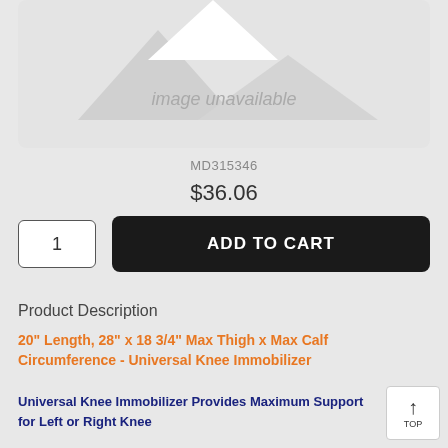[Figure (photo): Product image placeholder showing 'image unavailable' with mountain/image icon graphic on light gray background]
MD315346
$36.06
1
ADD TO CART
Product Description
20" Length, 28" x 18 3/4" Max Thigh x Max Calf Circumference - Universal Knee Immobilizer
Universal Knee Immobilizer Provides Maximum Support for Left or Right Knee